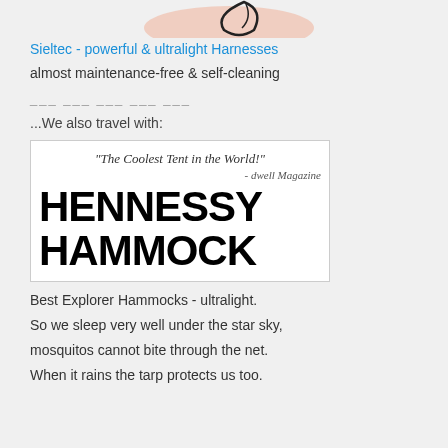[Figure (illustration): Partial view of a product/harness illustration showing a pink/beige shape with a leaf or feather outline at top]
Sieltec - powerful & ultralight Harnesses
almost maintenance-free & self-cleaning
___ ___ ___ ___ ___
...We also travel with:
[Figure (logo): Hennessy Hammock logo banner: quote 'The Coolest Tent in the World!' - dwell Magazine, and large bold text HENNESSY HAMMOCK]
Best Explorer Hammocks - ultralight.
So we sleep very well under the star sky,
mosquitos cannot bite through the net.
When it rains the tarp protects us too.